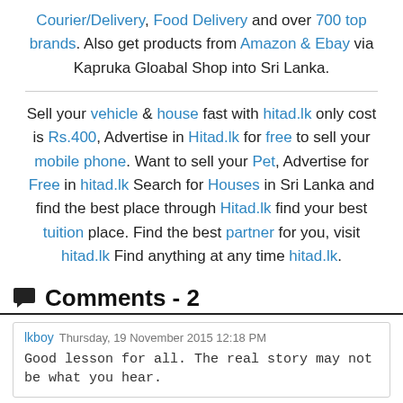Courier/Delivery, Food Delivery and over 700 top brands. Also get products from Amazon & Ebay via Kapruka Gloabal Shop into Sri Lanka.
Sell your vehicle & house fast with hitad.lk only cost is Rs.400, Advertise in Hitad.lk for free to sell your mobile phone. Want to sell your Pet, Advertise for Free in hitad.lk Search for Houses in Sri Lanka and find the best place through Hitad.lk find your best tuition place. Find the best partner for you, visit hitad.lk Find anything at any time hitad.lk.
Comments - 2
lkboy Thursday, 19 November 2015 12:18 PM
Good lesson for all. The real story may not be what you hear.